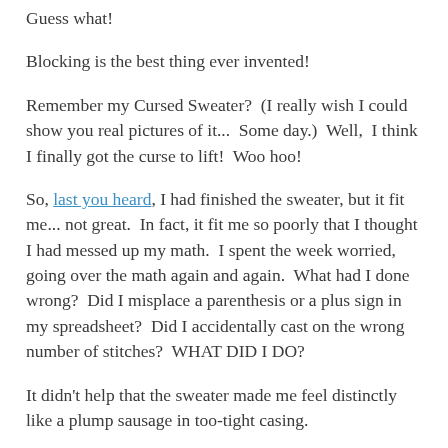Guess what!
Blocking is the best thing ever invented!
Remember my Cursed Sweater?  (I really wish I could show you real pictures of it...  Some day.)  Well,  I think I finally got the curse to lift!  Woo hoo!
So, last you heard, I had finished the sweater, but it fit me... not great.  In fact, it fit me so poorly that I thought I had messed up my math.  I spent the week worried, going over the math again and again.  What had I done wrong?  Did I misplace a parenthesis or a plus sign in my spreadsheet?  Did I accidentally cast on the wrong number of stitches?  WHAT DID I DO?
It didn't help that the sweater made me feel distinctly like a plump sausage in too-tight casing.